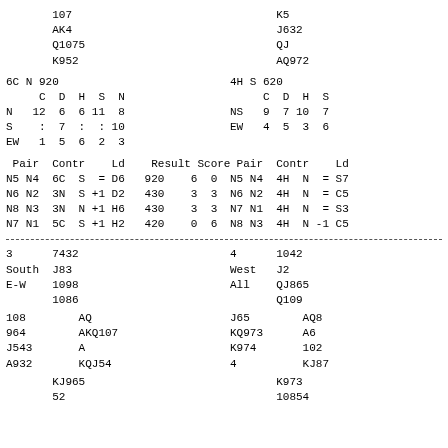107
AK4
Q1075
K952
K5
J632
QJ
AQ972
|  | C | D | H | S | N |
| --- | --- | --- | --- | --- | --- |
| N | 12 | 6 | 6 | 11 | 8 |
| S | : | 7 | : | : | 10 |
| EW | 1 | 5 | 6 | 2 | 3 |
|  | C | D | H | S |
| --- | --- | --- | --- | --- |
| NS | 9 | 7 | 10 | 7 |
| EW | 4 | 5 | 3 | 6 |
| Pair | Contr | Ld | Result | Score |
| --- | --- | --- | --- | --- |
| N5 N4 | 6C  S  = D6 | 920 | 6  0 |  |
| N6 N2 | 3N  S +1 D2 | 430 | 3  3 |  |
| N8 N3 | 3N  N +1 H6 | 430 | 3  3 |  |
| N7 N1 | 5C  S +1 H2 | 420 | 0  6 |  |
| Pair | Contr | Ld |
| --- | --- | --- |
| N5 N4 | 4H  N  = S7 |  |
| N6 N2 | 4H  N  = C5 |  |
| N7 N1 | 4H  N  = S3 |  |
| N8 N3 | 4H  N -1 C5 |  |
3      7432
South  J83
E-W    1098
       1086
4      1042
West   J2
All    QJ865
       Q109
108        AQ
964        AKQ107
J543       A
A932       KQJ54
J65        AQ8
KQ973      A6
K974       102
4          KJ87
KJ965
       52
K973
       10854